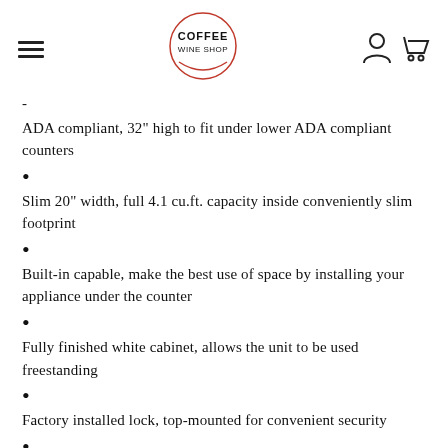COFFEE WINE SHOP
-
ADA compliant, 32" high to fit under lower ADA compliant counters
Slim 20" width, full 4.1 cu.ft. capacity inside conveniently slim footprint
Built-in capable, make the best use of space by installing your appliance under the counter
Fully finished white cabinet, allows the unit to be used freestanding
Factory installed lock, top-mounted for convenient security
Reversible door, keep your options flexible with a reversible door that is easy to switch when your arrangement changes